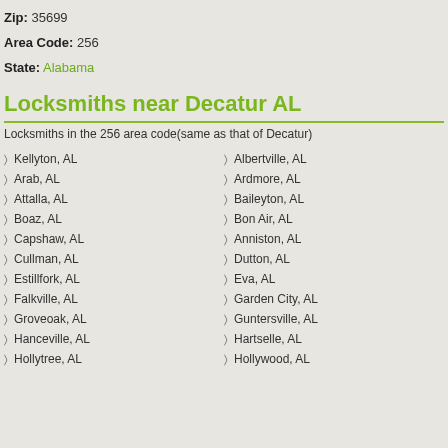Zip: 35699
Area Code: 256
State: Alabama
Locksmiths near Decatur AL
Locksmiths in the 256 area code(same as that of Decatur)
Kellyton, AL
Arab, AL
Attalla, AL
Boaz, AL
Capshaw, AL
Cullman, AL
Estillfork, AL
Falkville, AL
Groveoak, AL
Hanceville, AL
Hollytree, AL
Albertville, AL
Ardmore, AL
Baileyton, AL
Bon Air, AL
Anniston, AL
Dutton, AL
Eva, AL
Garden City, AL
Guntersville, AL
Hartselle, AL
Hollywood, AL